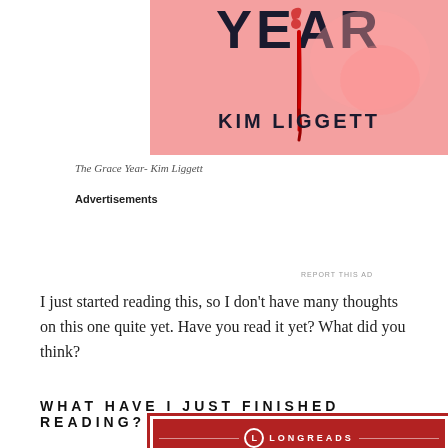[Figure (illustration): Book cover of The Grace Year by Kim Liggett — pink background with large title text 'YEAR' partially visible at top, author name 'KIM LIGGETT' in bold dark letters, and a red blood drip graphic]
The Grace Year- Kim Liggett
Advertisements
[Figure (other): Longreads advertisement banner with dark red background and white text: 'The best stories on the web – ours, and everyone else's.']
I just started reading this, so I don't have many thoughts on this one quite yet. Have you read it yet? What did you think?
WHAT HAVE I JUST FINISHED READING?